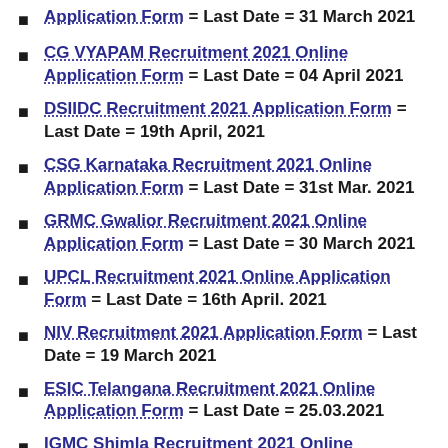Application Form = Last Date = 31 March 2021
CG VYAPAM Recruitment 2021 Online Application Form = Last Date = 04 April 2021
DSIIDC Recruitment 2021 Application Form = Last Date = 19th April, 2021
CSG Karnataka Recruitment 2021 Online Application Form = Last Date = 31st Mar. 2021
GRMC Gwalior Recruitment 2021 Online Application Form = Last Date = 30 March 2021
UPCL Recruitment 2021 Online Application Form = Last Date = 16th April. 2021
NIV Recruitment 2021 Application Form = Last Date = 19 March 2021
ESIC Telangana Recruitment 2021 Online Application Form = Last Date = 25.03.2021
IGMC Shimla Recruitment 2021 Online Application